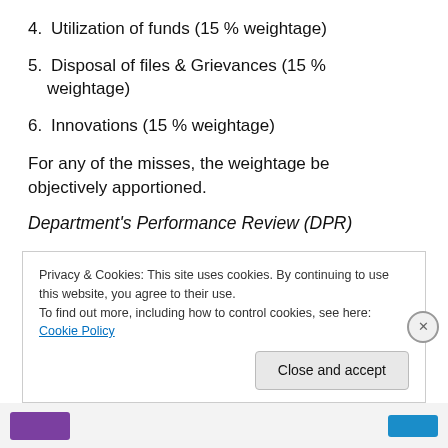4. Utilization of funds (15 % weightage)
5. Disposal of files & Grievances (15 % weightage)
6. Innovations (15 % weightage)
For any of the misses, the weightage be objectively apportioned.
Department's Performance Review (DPR)
Privacy & Cookies: This site uses cookies. By continuing to use this website, you agree to their use.
To find out more, including how to control cookies, see here: Cookie Policy